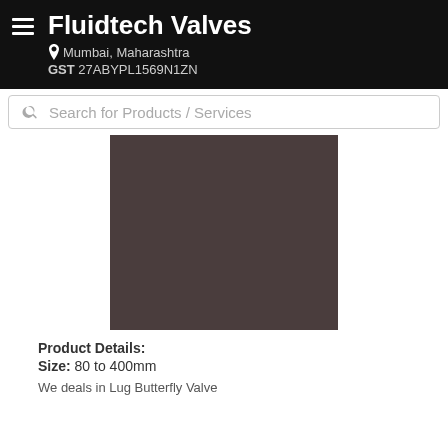Fluidtech Valves | Mumbai, Maharashtra | GST 27ABYPL1569N1ZN
Search for Products / Services
[Figure (photo): Product image placeholder — dark brownish-grey rectangular image of a valve product]
Product Details:
Size: 80 to 400mm
We deals in Lug Butterfly Valve...